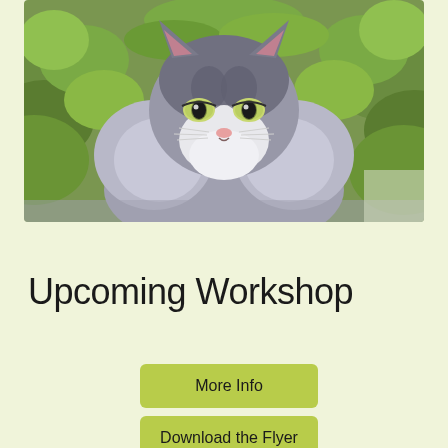[Figure (photo): A gray and white cat with green eyes sitting outdoors in front of green foliage, looking directly at the camera with a serious expression.]
Upcoming Workshop
More Info
Download the Flyer